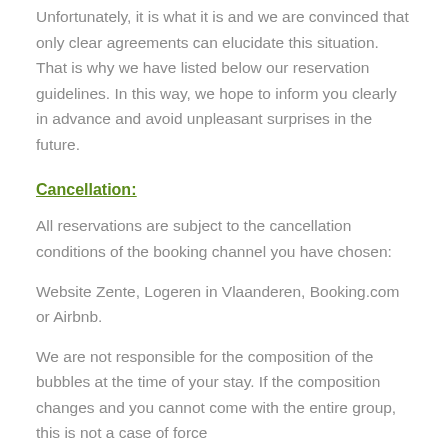Unfortunately, it is what it is and we are convinced that only clear agreements can elucidate this situation. That is why we have listed below our reservation guidelines. In this way, we hope to inform you clearly in advance and avoid unpleasant surprises in the future.
Cancellation:
All reservations are subject to the cancellation conditions of the booking channel you have chosen:
Website Zente, Logeren in Vlaanderen, Booking.com or Airbnb.
We are not responsible for the composition of the bubbles at the time of your stay. If the composition changes and you cannot come with the entire group, this is not a case of force